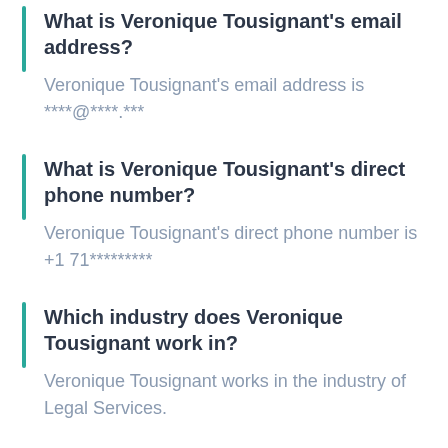What is Veronique Tousignant's email address?
Veronique Tousignant's email address is ****@****.***
What is Veronique Tousignant's direct phone number?
Veronique Tousignant's direct phone number is +1 71*********
Which industry does Veronique Tousignant work in?
Veronique Tousignant works in the industry of Legal Services.
What is Veronique Tousignant's